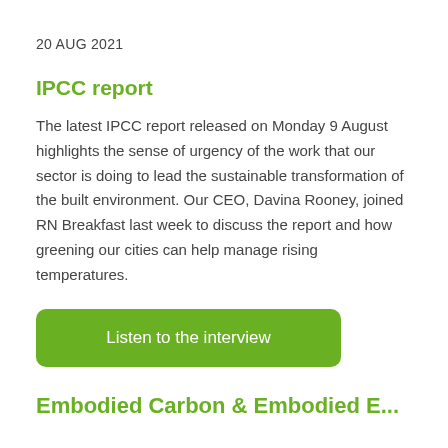20 AUG 2021
IPCC report
The latest IPCC report released on Monday 9 August highlights the sense of urgency of the work that our sector is doing to lead the sustainable transformation of the built environment. Our CEO, Davina Rooney, joined RN Breakfast last week to discuss the report and how greening our cities can help manage rising temperatures.
Listen to the interview
Embodied Carbon & Embodied E...